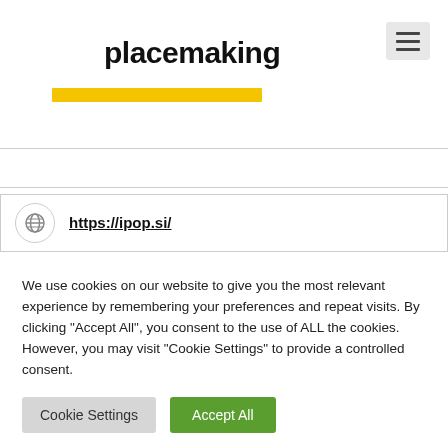placemaking europe
https://ipop.si/
We use cookies on our website to give you the most relevant experience by remembering your preferences and repeat visits. By clicking “Accept All”, you consent to the use of ALL the cookies. However, you may visit "Cookie Settings" to provide a controlled consent.
Cookie Settings | Accept All